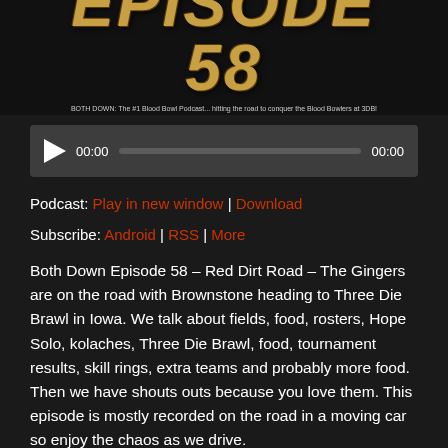[Figure (photo): Podcast episode image showing 'EPISODE 58' text in large decorative letters with a cookie/biscuit texture effect, on a dark background. Subtitle reads: BOTH DOWN: The #1 Blood Bowl Podcast... hitting the road to conquer the Blood Bowlers at 3DB!]
[Figure (other): Audio player control bar with play button, timestamp 00:00, progress bar, and end time 00:00 on a dark grey background]
Podcast: Play in new window | Download
Subscribe: Android | RSS | More
Both Down Episode 58 – Red Dirt Road – The Gingers are on the road with Brownstone heading to Three Die Brawl in Iowa. We talk about fields, food, rosters, Hope Solo, kolaches, Three Die Brawl, food, tournament results, skill rings, extra teams and probably more food. Then we have shouts outs because you love them. This episode is mostly recorded on the road in a moving car so enjoy the chaos as we drive.